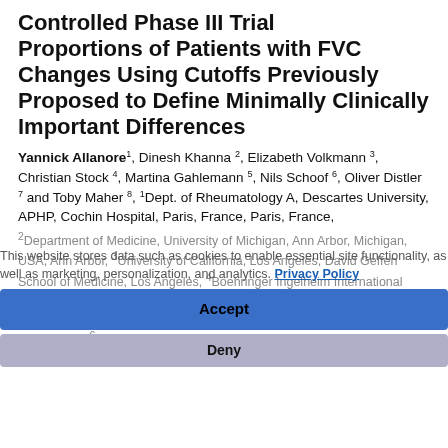Controlled Phase III Trial Proportions of Patients with FVC Changes Using Cutoffs Previously Proposed to Define Minimally Clinically Important Differences
Yannick Allanore1, Dinesh Khanna 2, Elizabeth Volkmann 3, Christian Stock 4, Martina Gahlemann 5, Nils Schoof 6, Oliver Distler 7 and Toby Maher 8, 1Dept. of Rheumatology A, Descartes University, APHP, Cochin Hospital, Paris, France, Paris, France,
2Department of Medicine, University of Michigan, Ann Arbor, Michigan, USA, Ann Arbor, 3University of California, Los Angeles, David Geffen School of Medicine, Los Angeles, 4Boehringer Ingelheim International GmbH, Ingelheim am Rhein, Germany, Ingelheim am Rhein, Germany, 5Boehringer Ingelheim (Schweiz) GmbH, Basel, Switzerland, Basel, Switzerland, 6Boehringer Ingelheim International